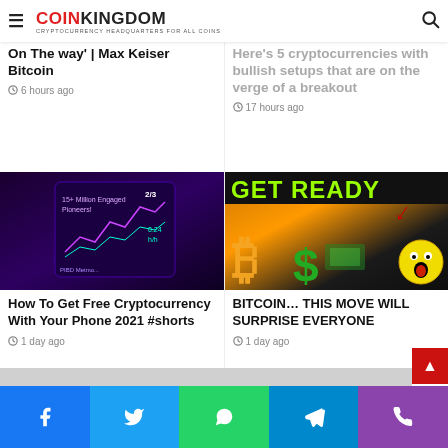COINKINGDOM — CRYPTOCURRENCY HEADQUARTERS FOR ALL COINS
On The Way' | Max Keiser Bitcoin
6 hours ago
Here's 5 cryptocurrencies with bullish setups that are on the verge of a breakout
17 hours ago
[Figure (screenshot): Dark purple screenshot of a crypto mining app showing a graph with stats, '15+ Million Engaged Pioneers', and metrics]
How To Get Free Cryptocurrency With Your Phone 2021 #shorts
1 day ago
[Figure (illustration): Promotional image with 'GET READY' in green, Bitcoin B logo, green dollar sign, red arrow pointing down, shocked emoji face, on orange/dark background]
BITCOIN… THIS MOVE WILL SURPRISE EVERYONE
1 day ago